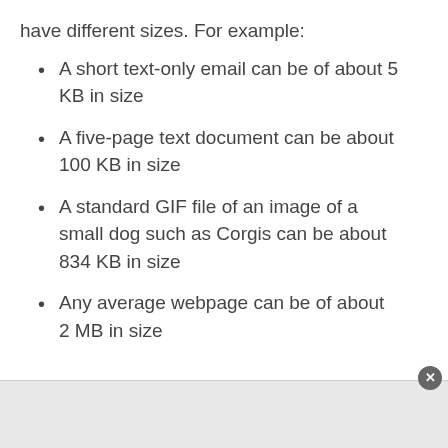have different sizes. For example:
A short text-only email can be of about 5 KB in size
A five-page text document can be about 100 KB in size
A standard GIF file of an image of a small dog such as Corgis can be about 834 KB in size
Any average webpage can be of about 2 MB in size